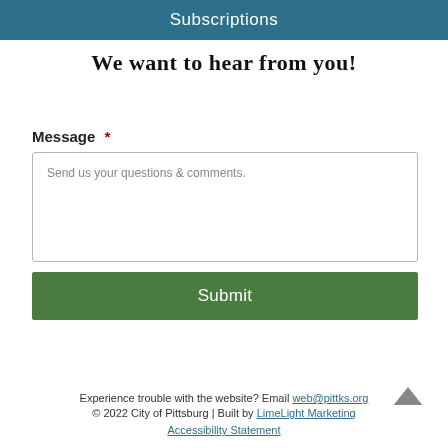Subscriptions
We want to hear from you!
Message *
Send us your questions & comments.
Submit
Experience trouble with the website? Email web@pittks.org
© 2022 City of Pittsburg | Built by LimeLight Marketing
Accessibility Statement